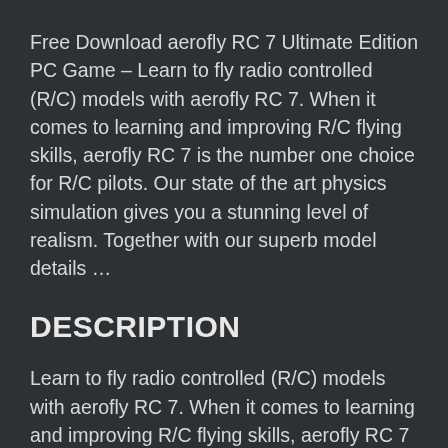Free Download aerofly RC 7 Ultimate Edition PC Game – Learn to fly radio controlled (R/C) models with aerofly RC 7. When it comes to learning and improving R/C flying skills, aerofly RC 7 is the number one choice for R/C pilots. Our state of the art physics simulation gives you a stunning level of realism. Together with our superb model details …
DESCRIPTION
Learn to fly radio controlled (R/C) models with aerofly RC 7. When it comes to learning and improving R/C flying skills, aerofly RC 7 is the number one choice for R/C pilots. Our state of the art physics simulation gives you a stunning level of realism. Together with our superb model details and awesome scenery quality you will